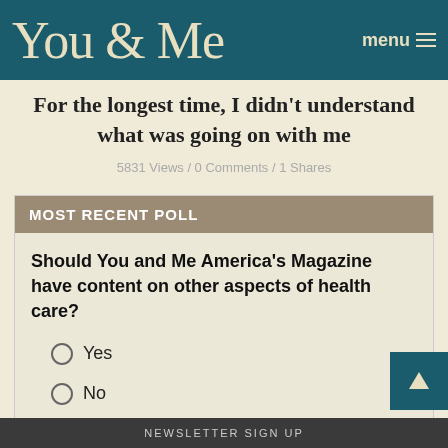You & Me  menu
For the longest time, I didn't understand what was going on with me
5831 Views / 0 Comments / 1 Shares
MOST RECENT POLL
Should You and Me America's Magazine have content on other aspects of health care?
Yes
No
Vote
NEWSLETTER SIGN UP